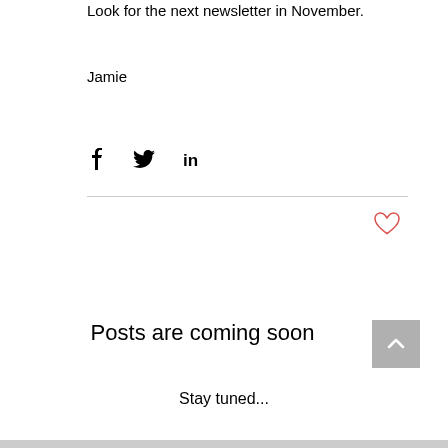Look for the next newsletter in November.
Jamie
[Figure (infographic): Social share icons: Facebook (f), Twitter (bird), LinkedIn (in)]
[Figure (infographic): Red heart/like icon]
Posts are coming soon
Stay tuned...
[Figure (infographic): Grey back-to-top button with upward chevron arrow]